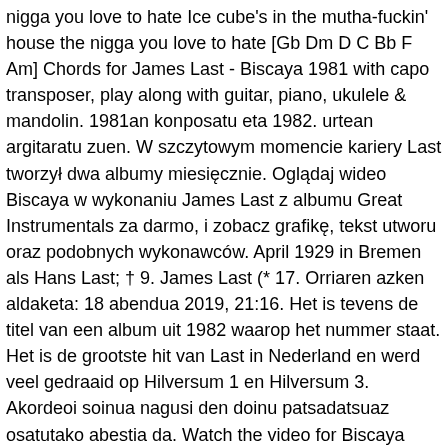nigga you love to hate Ice cube's in the mutha-fuckin' house the nigga you love to hate [Gb Dm D C Bb F Am] Chords for James Last - Biscaya 1981 with capo transposer, play along with guitar, piano, ukulele & mandolin. 1981an konposatu eta 1982. urtean argitaratu zuen. W szczytowym momencie kariery Last tworzył dwa albumy miesięcznie. Oglądaj wideo Biscaya w wykonaniu James Last z albumu Great Instrumentals za darmo, i zobacz grafikę, tekst utworu oraz podobnych wykonawców. April 1929 in Bremen als Hans Last; † 9. James Last (* 17. Orriaren azken aldaketa: 18 abendua 2019, 21:16. Het is tevens de titel van een album uit 1982 waarop het nummer staat. Het is de grootste hit van Last in Nederland en werd veel gedraaid op Hilversum 1 en Hilversum 3. Akordeoi soinua nagusi den doinu patsadatsuaz osatutako abestia da. Watch the video for Biscaya from James Last And His Orchestra's The Best Of James Last for free, and see the artwork, lyrics and similar artists. [Gb Dm D C Bb F Am] Chords for James Last - Biscaya 1981 with capo transposer, play along with guitar, piano, ukulele & mandolin. Młody Hans